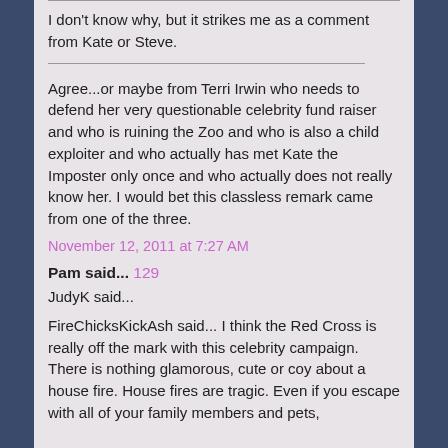I don't know why, but it strikes me as a comment from Kate or Steve.
Agree...or maybe from Terri Irwin who needs to defend her very questionable celebrity fund raiser and who is ruining the Zoo and who is also a child exploiter and who actually has met Kate the Imposter only once and who actually does not really know her. I would bet this classless remark came from one of the three.
November 12, 2011 at 7:27 AM
Pam said... 129
JudyK said...
FireChicksKickAsh said... I think the Red Cross is really off the mark with this celebrity campaign. There is nothing glamorous, cute or coy about a house fire. House fires are tragic. Even if you escape with all of your family members and pets,